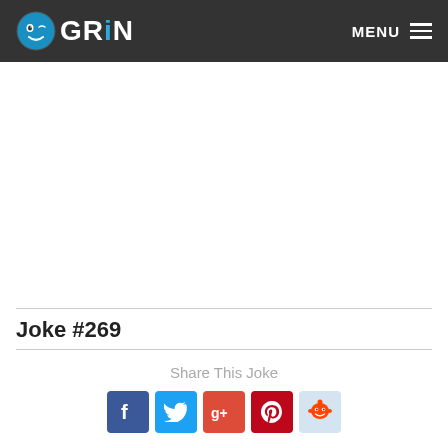GRiN  MENU
[Figure (other): Large white advertisement/blank area]
Joke #269
Share This Joke
[Figure (infographic): Social share buttons: Facebook, Twitter, Google+, Pinterest, Reddit]